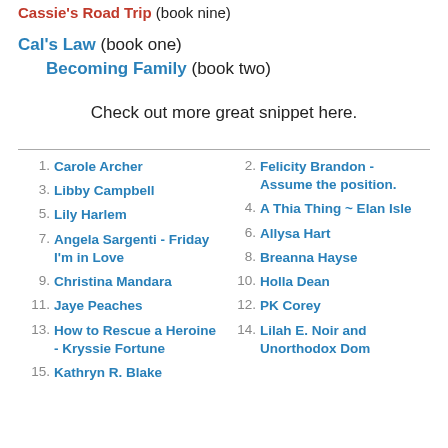Cassie's Road Trip (book nine)
Cal's Law (book one)
Becoming Family (book two)
Check out more great snippet here.
1. Carole Archer
2. Felicity Brandon - Assume the position.
3. Libby Campbell
4. A Thia Thing ~ Elan Isle
5. Lily Harlem
6. Allysa Hart
7. Angela Sargenti - Friday I'm in Love
8. Breanna Hayse
9. Christina Mandara
10. Holla Dean
11. Jaye Peaches
12. PK Corey
13. How to Rescue a Heroine - Kryssie Fortune
14. Lilah E. Noir and Unorthodox Dom
15. Kathryn R. Blake